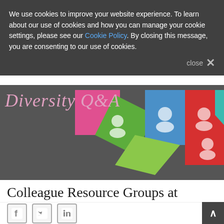We use cookies to improve your website experience. To learn about our use of cookies and how you can manage your cookie settings, please see our Cookie Policy. By closing this message, you are consenting to our use of cookies.
[Figure (photo): Colorful puzzle pieces with people icons representing diversity, with text 'Diversity Q&A' overlaid in pink italic serif font.]
Colleague Resource Groups at Taylor & Francis: A Q&A With Naomi Barrett, VP of Diversity, Equity and Inclusion